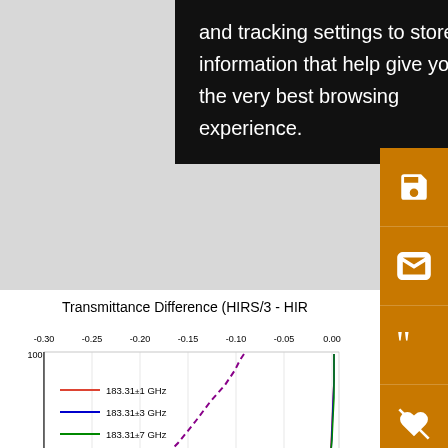and tracking settings to store information that help give you the very best browsing experience.
[Figure (continuous-plot): Line chart showing transmittance difference vs pressure (hPa) for three MHS channels (183.31±1 GHz, 183.31±3 GHz, 183.31±7 GHz) and HIRS/3 - HIRS/2 dashed line. X-axis from -0.30 to 0.00, y-axis from 100 to 200+ hPa (partially visible).]
for
atm